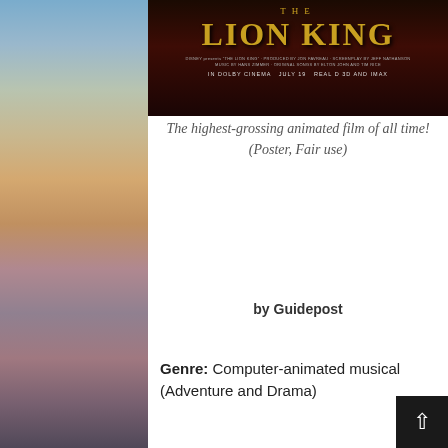[Figure (photo): The Lion King (2019) movie poster — dark red/black background with golden title text 'THE LION KING', small credits text, and 'JULY 19' release date in Dolby Cinema, REAL D 3D and IMAX]
The highest-grossing animated film of all time! (Poster, Fair use)
by Guidepost
Genre: Computer-animated musical (Adventure and Drama)